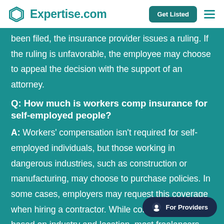Expertise.com
been filed, the insurance provider issues a ruling. If the ruling is unfavorable, the employee may choose to appeal the decision with the support of an attorney.
Q: How much is workers comp insurance for self-employed people?
A: Workers' compensation isn't required for self-employed individuals, but those working in dangerous industries, such as construction or manufacturing, may choose to purchase policies. In some cases, employers may request this coverage when hiring a contractor. While costs will vary based on industry and location, most freelancers can expect to pay around $25 to $50 per month.